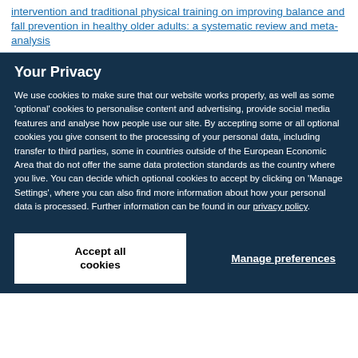intervention and traditional physical training on improving balance and fall prevention in healthy older adults: a systematic review and meta-analysis
Your Privacy
We use cookies to make sure that our website works properly, as well as some 'optional' cookies to personalise content and advertising, provide social media features and analyse how people use our site. By accepting some or all optional cookies you give consent to the processing of your personal data, including transfer to third parties, some in countries outside of the European Economic Area that do not offer the same data protection standards as the country where you live. You can decide which optional cookies to accept by clicking on 'Manage Settings', where you can also find more information about how your personal data is processed. Further information can be found in our privacy policy.
Accept all cookies
Manage preferences